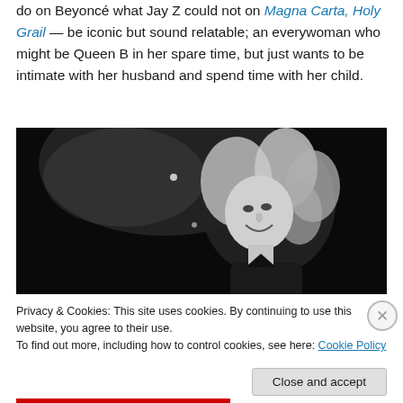do on Beyoncé what Jay Z could not on Magna Carta, Holy Grail — be iconic but sound relatable; an everywoman who might be Queen B in her spare time, but just wants to be intimate with her husband and spend time with her child.
[Figure (photo): Black and white photograph of a woman with long curly blonde hair laughing/smiling, photographed from below against a dark stage background with a spotlight visible.]
Privacy & Cookies: This site uses cookies. By continuing to use this website, you agree to their use.
To find out more, including how to control cookies, see here: Cookie Policy